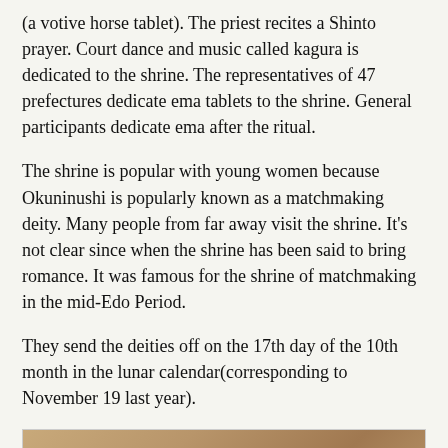(a votive horse tablet). The priest recites a Shinto prayer. Court dance and music called kagura is dedicated to the shrine. The representatives of 47 prefectures dedicate ema tablets to the shrine. General participants dedicate ema after the ritual.
The shrine is popular with young women because Okuninushi is popularly known as a matchmaking deity. Many people from far away visit the shrine. It's not clear since when the shrine has been said to bring romance. It was famous for the shrine of matchmaking in the mid-Edo Period.
They send the deities off on the 17th day of the 10th month in the lunar calendar(corresponding to November 19 last year).
[Figure (photo): Photo of a Japanese tea ceremony set on a wooden tray, including a large black teapot, a small white/gray cup with tea, a decorative cup with flower pattern, a red bowl, and a tan bowl, all arranged on a round reddish-brown wooden tray.]